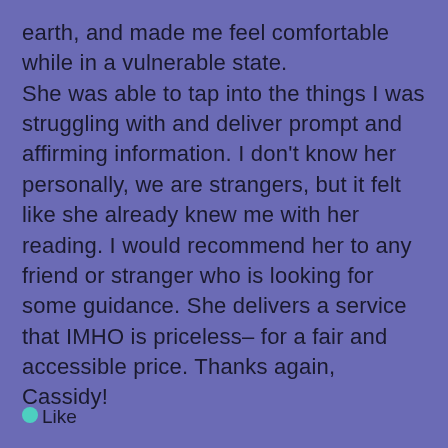earth, and made me feel comfortable while in a vulnerable state. She was able to tap into the things I was struggling with and deliver prompt and affirming information. I don't know her personally, we are strangers, but it felt like she already knew me with her reading. I would recommend her to any friend or stranger who is looking for some guidance. She delivers a service that IMHO is priceless– for a fair and accessible price. Thanks again, Cassidy!
Like